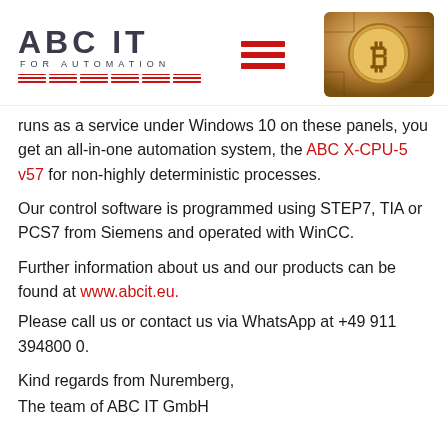[Figure (logo): ABC IT FOR AUTOMATION logo with red horizontal stripe blocks, a hamburger menu icon in red, and a gold Bitcoin coin circuit board image on the right]
runs as a service under Windows 10 on these panels, you get an all-in-one automation system, the ABC X-CPU-5 v57 for non-highly deterministic processes.
Our control software is programmed using STEP7, TIA or PCS7 from Siemens and operated with WinCC.
Further information about us and our products can be found at www.abcit.eu.
Please call us or contact us via WhatsApp at +49 911 394800 0.
Kind regards from Nuremberg,
The team of ABC IT GmbH